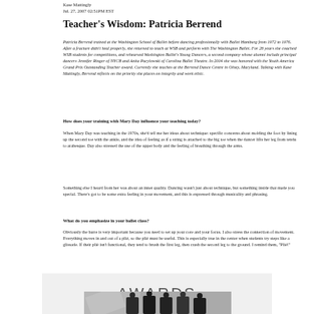Kase Mattingly
Jul. 27, 2007 02:51PM EST
Teacher's Wisdom: Patricia Berrend
Patricia Berrend trained at the Washington School of Ballet before dancing professionally with Ballet Hamburg from 1972 to 1976. After a fracture didn't heal properly, she returned to teach at WSB and perform with The Washington Ballet. For 28 years she coached WSB students for competitions, and rehearsed Washington Ballet's Young Dancers, a second company whose alumni include principal dancers Jennifer Ringer of NYCB and Anita Pacylowski of Carolina Ballet Theatre. In 2004 she was honored with the Youth America Grand Prix Outstanding Teacher award. Currently she teaches at the Berrend Dance Centre in Olney, Maryland. Talking with Kase Mattingly, Berrend reflects on the priority she places on integrity and work ethic.
How does your training with Mary Day influence your teaching today?
When Mary Day was teaching in the 1970s, she'd tell me her ideas about technique: specific concerns about molding the foot by lining up the second toe with the ankle, and the idea of feeling as if a string is attached to the big toe when the dancer lifts her leg from tendu to arabesque. Day also stressed the use of the upper body and the feeling of breathing through the arms.
Something else I heard from her was about an inner quality. Dancing wasn't just about technique, but something inside that made you special. There's got to be some extra feeling in your movement, and this is expressed through musicality and phrasing.
What do you emphasize in your ballet class?
Obviously the barre is very important because you need to set up your core and your focus. I also stress the connection of movement. Everything moves in and out of a plié, so the plié must be useful. This is especially true in the center when students try steps like a glissade. If their plié isn't functional, they tend to brush the first leg, then crash the second leg to the ground. I remind them, "Plié!"
AWARDS
[Figure (photo): Group photo of people standing together, partially visible at bottom of page]